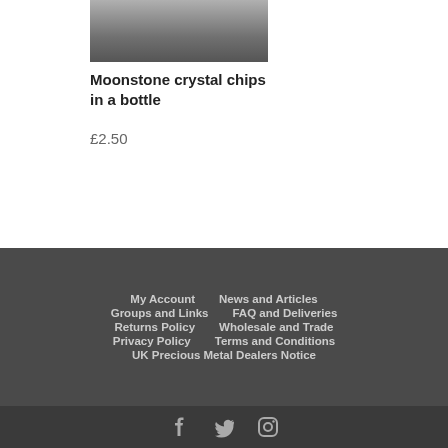[Figure (photo): Product photo of moonstone crystal chips in a bottle, partially visible at top of page]
Moonstone crystal chips in a bottle
£2.50
My Account  News and Articles  Groups and Links  FAQ and Deliveries  Returns Policy  Wholesale and Trade  Privacy Policy  Terms and Conditions  UK Precious Metal Dealers Notice
Social media icons: Facebook, Twitter, Instagram